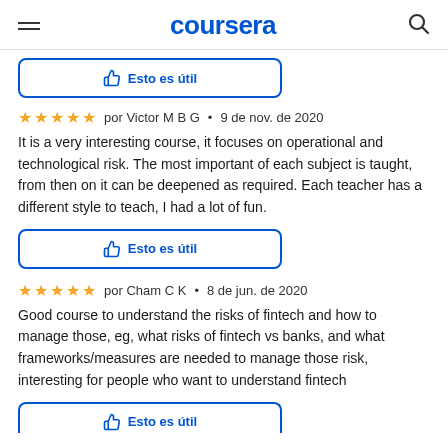coursera
[Figure (screenshot): Partially visible 'Esto es útil' button at top of page]
por Victor M B G · 9 de nov. de 2020
It is a very interesting course, it focuses on operational and technological risk. The most important of each subject is taught, from then on it can be deepened as required. Each teacher has a different style to teach, I had a lot of fun.
[Figure (screenshot): Esto es útil button with thumbs up icon]
por Cham C K · 8 de jun. de 2020
Good course to understand the risks of fintech and how to manage those, eg, what risks of fintech vs banks, and what frameworks/measures are needed to manage those risk, interesting for people who want to understand fintech
[Figure (screenshot): Partially visible Esto es útil button at bottom of page]